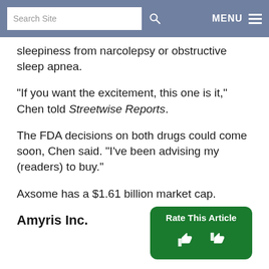Search Site  MENU
sleepiness from narcolepsy or obstructive sleep apnea.
"If you want the excitement, this one is it," Chen told Streetwise Reports.
The FDA decisions on both drugs could come soon, Chen said. "I've been advising my (readers) to buy."
Axsome has a $1.61 billion market cap.
Amyris Inc.